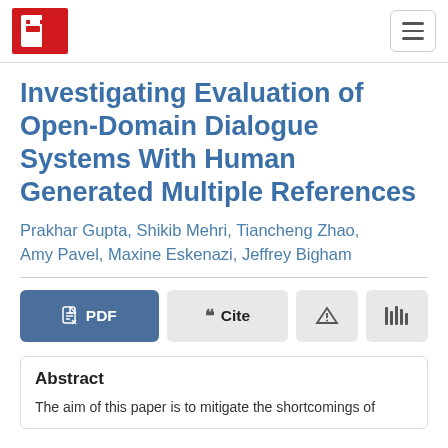Semantic Scholar logo and navigation
Investigating Evaluation of Open-Domain Dialogue Systems With Human Generated Multiple References
Prakhar Gupta, Shikib Mehri, Tiancheng Zhao, Amy Pavel, Maxine Eskenazi, Jeffrey Bigham
Abstract
The aim of this paper is to mitigate the shortcomings of